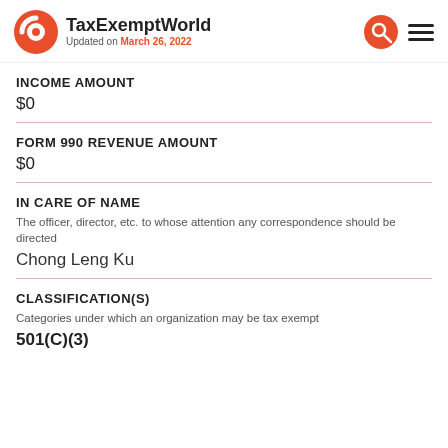TaxExemptWorld Updated on March 26, 2022
INCOME AMOUNT
$0
FORM 990 REVENUE AMOUNT
$0
IN CARE OF NAME
The officer, director, etc. to whose attention any correspondence should be directed
Chong Leng Ku
CLASSIFICATION(S)
Categories under which an organization may be tax exempt
501(C)(3)